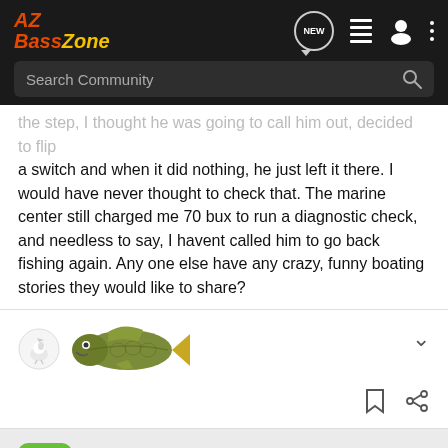AZ BassZone - Search Community
the step, I thought he was going to call him out, decided to flip a switch and when it did nothing, he just left it there. I would have never thought to check that. The marine center still charged me 70 bux to run a diagnostic check, and needless to say, I havent called him to go back fishing again. Any one else have any crazy, funny boating stories they would like to share?
[Figure (photo): Small white bird avatar icon and a largemouth bass fish illustration]
Guest ·